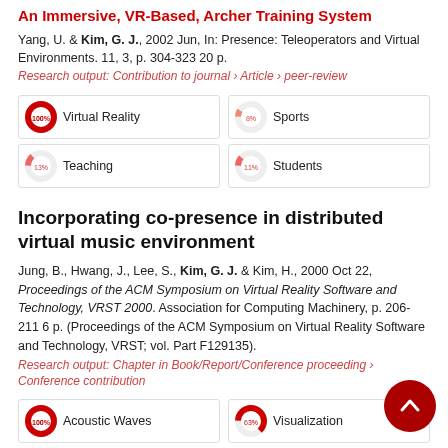An Immersive, VR-Based, Archer Training System
Yang, U. & Kim, G. J., 2002 Jun, In: Presence: Teleoperators and Virtual Environments. 11, 3, p. 304-323 20 p.
Research output: Contribution to journal › Article › peer-review
[Figure (donut-chart): Virtual Reality]
[Figure (donut-chart): Sports]
[Figure (donut-chart): Teaching]
[Figure (donut-chart): Students]
Incorporating co-presence in distributed virtual music environment
Jung, B., Hwang, J., Lee, S., Kim, G. J. & Kim, H., 2000 Oct 22, Proceedings of the ACM Symposium on Virtual Reality Software and Technology, VRST 2000. Association for Computing Machinery, p. 206-211 6 p. (Proceedings of the ACM Symposium on Virtual Reality Software and Technology, VRST; vol. Part F129135).
Research output: Chapter in Book/Report/Conference proceeding › Conference contribution
[Figure (donut-chart): Acoustic Waves]
[Figure (donut-chart): Visualization]